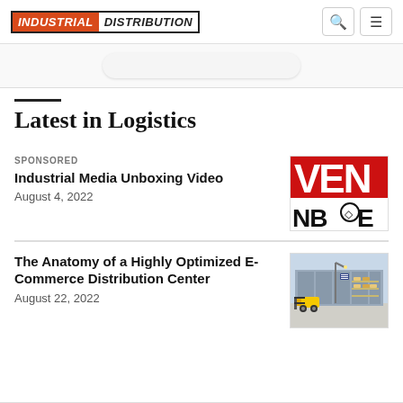INDUSTRIAL DISTRIBUTION
Latest in Logistics
SPONSORED
Industrial Media Unboxing Video
August 4, 2022
[Figure (logo): Red and black VENBOXE logo thumbnail]
The Anatomy of a Highly Optimized E-Commerce Distribution Center
August 22, 2022
[Figure (illustration): Warehouse distribution center illustration with forklift and shelves]